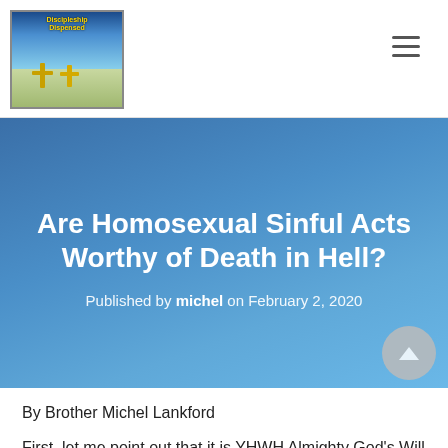[Figure (logo): Website logo with crosses and sky background, with text overlay]
Are Homosexual Sinful Acts Worthy of Death in Hell?
Published by michel on February 2, 2020
By Brother Michel Lankford
First, let me point out that it is YHWH Almighty God's Will and Desire for every person to be saved; that nobody would be required to be condemned for wickedness; but that everyone would repent, turn away from evil, return to YHWH